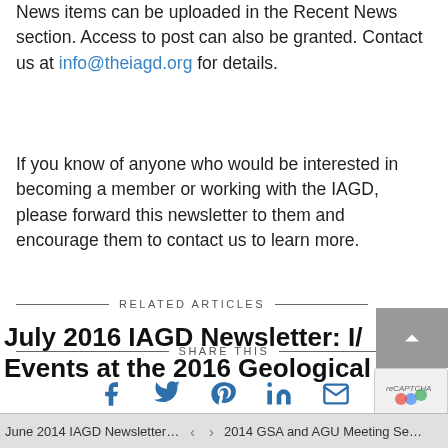News items can be uploaded in the Recent News section. Access to post can also be granted.  Contact us at info@theiagd.org for details.
If you know of anyone who would be interested in becoming a member or working with the IAGD, please forward this newsletter to them and encourage them to contact us to learn more.
SHARE THIS
[Figure (infographic): Social share icons: Facebook, Twitter, Pinterest, LinkedIn, Email]
RELATED ARTICLES
July 2016 IAGD Newsletter: I/ Events at the 2016 Geological
June 2014 IAGD Newsletter: IAGD … < > 2014 GSA and AGU Meeting Sessio…